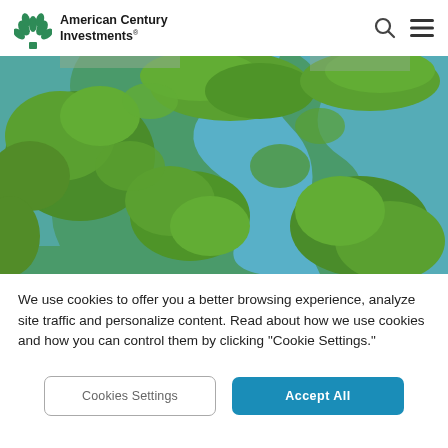American Century Investments®
[Figure (photo): Aerial view of lush green mangrove forest islands with blue waterways winding through them, with developed shoreline visible in the background.]
We use cookies to offer you a better browsing experience, analyze site traffic and personalize content. Read about how we use cookies and how you can control them by clicking "Cookie Settings."
Cookies Settings | Accept All